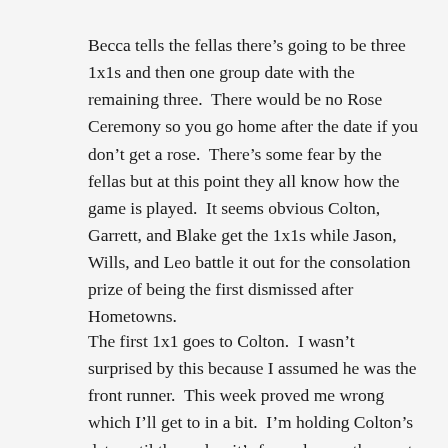Becca tells the fellas there’s going to be three 1x1s and then one group date with the remaining three.  There would be no Rose Ceremony so you go home after the date if you don’t get a rose.  There’s some fear by the fellas but at this point they all know how the game is played.  It seems obvious Colton, Garrett, and Blake get the 1x1s while Jason, Wills, and Leo battle it out for the consolation prize of being the first dismissed after Hometowns.
The first 1x1 goes to Colton.  I wasn’t surprised by this because I assumed he was the front runner.  This week proved me wrong which I’ll get to in a bit.  I’m holding Colton’s date until the end as it’s far and away the most interesting thing about this